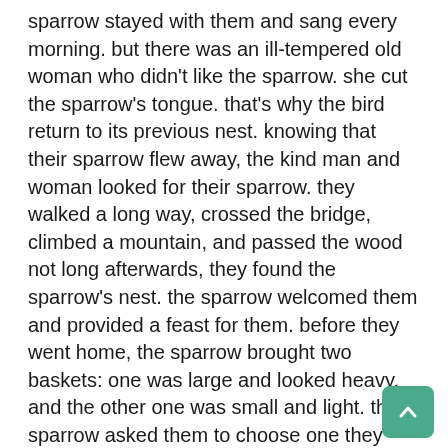sparrow stayed with them and sang every morning. but there was an ill-tempered old woman who didn't like the sparrow. she cut the sparrow's tongue. that's why the bird return to its previous nest. knowing that their sparrow flew away, the kind man and woman looked for their sparrow. they walked a long way, crossed the bridge, climbed a mountain, and passed the wood not long afterwards, they found the sparrow's nest. the sparrow welcomed them and provided a feast for them. before they went home, the sparrow brought two baskets: one was large and looked heavy, and the other one was small and light. the sparrow asked them to choose one they choose the small one. and that was the best choice. there were many rolls of silk and piles of gold in it. being jealous, the ill-tempered old woman did the same thing as the kind man and woman did. she chose the big basket which actually contained wasps and venomous crawlers, such as scorpions, centipedes, and other horrible creatures. finally, they stung and bit her to death.“the sparrow welcomed them.” the bold typed word refers to the kind man an woman.